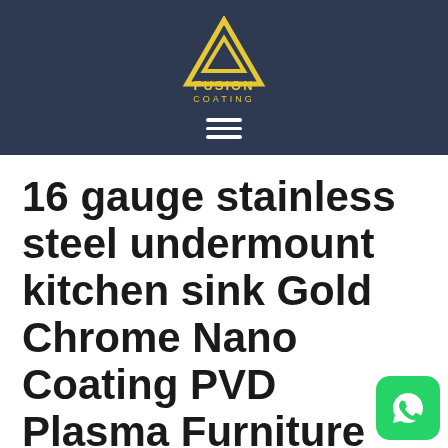FUSION COATING logo and navigation
16 gauge stainless steel undermount kitchen sink Gold Chrome Nano Coating PVD Plasma Furniture